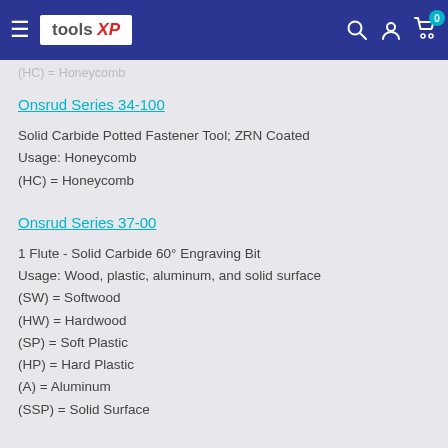tools XP — navigation bar with search, account, and cart icons
(HC) = Honeycomb
Onsrud Series 34-100
Solid Carbide Potted Fastener Tool; ZRN Coated
Usage: Honeycomb
(HC) = Honeycomb
Onsrud Series 37-00
1 Flute - Solid Carbide 60° Engraving Bit
Usage: Wood, plastic, aluminum, and solid surface
(SW) = Softwood
(HW) = Hardwood
(SP) = Soft Plastic
(HP) = Hard Plastic
(A) = Aluminum
(SSP) = Solid Surface